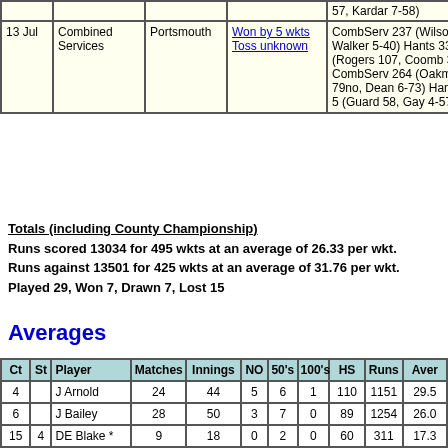| Date | Opponent | Venue | Result | Scores |
| --- | --- | --- | --- | --- |
| 13 Jul | Combined Services | Portsmouth | Won by 5 wkts Toss unknown | CombServ 237 (Wilson 100, Walker 5-40) Hants 335 (Rogers 107, Coomb 3-61) CombServ 264 (Oakman 79no, Dean 6-73) Hants 168-5 (Guard 58, Gay 4-57) |
Totals (including County Championship)
Runs scored 13034 for 495 wkts at an average of 26.33 per wkt.
Runs against 13501 for 425 wkts at an average of 31.76 per wkt.
Played 29, Won 7, Drawn 7, Lost 15
Averages
| Ct | St | Player | Matches | Innings | NO | 50's | 100's | HS | Runs | Aver |
| --- | --- | --- | --- | --- | --- | --- | --- | --- | --- | --- |
| 4 |  | J Arnold | 24 | 44 | 5 | 6 | 1 | 110 | 1151 | 29.5 |
| 6 |  | J Bailey | 28 | 50 | 3 | 7 | 0 | 89 | 1254 | 26.0 |
| 15 | 4 | DE Blake * | 9 | 18 | 0 | 2 | 0 | 60 | 311 | 17.3 |
| 4 |  | JR Bridger | 3 | 5 | 0 | 1 | 0 | 52 | 100 | 20.0 |